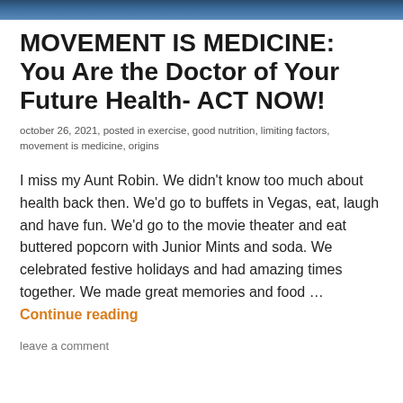[Figure (photo): Dark blue/teal banner image at top of page]
MOVEMENT IS MEDICINE: You Are the Doctor of Your Future Health- ACT NOW!
october 26, 2021, posted in exercise, good nutrition, limiting factors, movement is medicine, origins
I miss my Aunt Robin. We didn't know too much about health back then. We'd go to buffets in Vegas, eat, laugh and have fun. We'd go to the movie theater and eat buttered popcorn with Junior Mints and soda. We celebrated festive holidays and had amazing times together. We made great memories and food … Continue reading
leave a comment